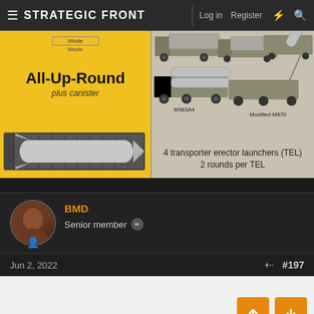STRATEGIC FRONT   Log in   Register
[Figure (infographic): Military infographic showing All-Up-Round plus canister (missile in yellow background on left) and 4 transporter erector launchers (TEL) 2 rounds per TEL with M983A4 and Modified M870 vehicles on right]
4 transporter erector launchers (TEL) 2 rounds per TEL
BMD
Senior member
Jun 2, 2022
#197